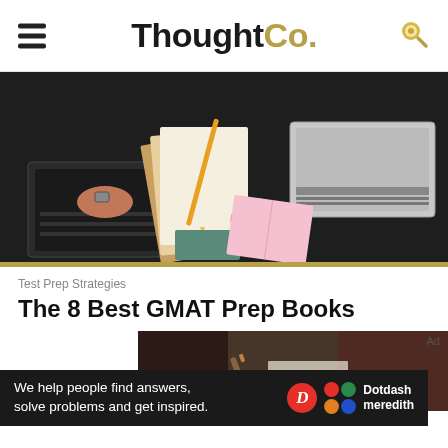ThoughtCo.
[Figure (photo): Overhead view of people studying with laptops and notebooks on a dark desk]
Test Prep Strategies
The 8 Best GMAT Prep Books
[Figure (photo): Close-up of a pencil resting on a page, blurred background]
We help people find answers, solve problems and get inspired. Dotdash meredith